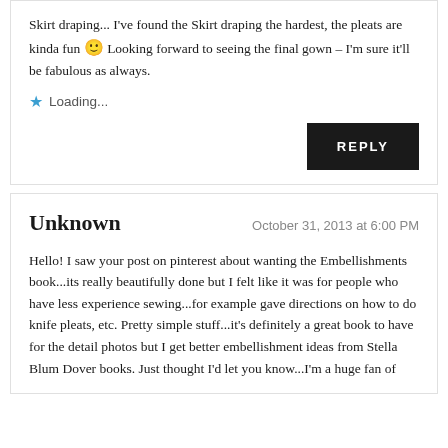Skirt draping... I've found the Skirt draping the hardest, the pleats are kinda fun 🙂 Looking forward to seeing the final gown – I'm sure it'll be fabulous as always.
Loading...
REPLY
Unknown
October 31, 2013 at 6:00 PM
Hello! I saw your post on pinterest about wanting the Embellishments book...its really beautifully done but I felt like it was for people who have less experience sewing...for example gave directions on how to do knife pleats, etc. Pretty simple stuff...it's definitely a great book to have for the detail photos but I get better embellishment ideas from Stella Blum Dover books. Just thought I'd let you know...I'm a huge fan of